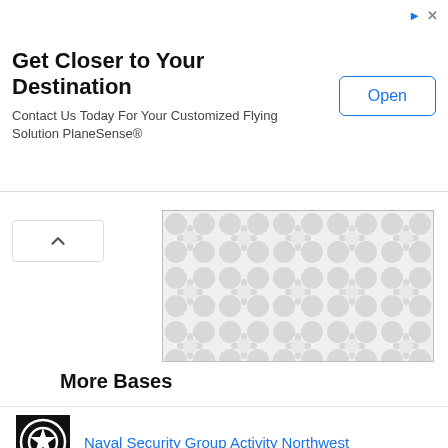[Figure (other): Advertisement banner: Get Closer to Your Destination, Contact Us Today For Your Customized Flying Solution PlaneSense®, with Open button]
[Figure (other): Map placeholder showing a light grey decorative pattern on white background with a border]
More Bases
Naval Security Group Activity Northwest
Pope AFB